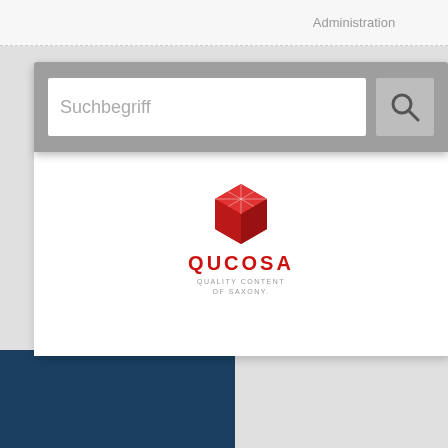Administration
[Figure (screenshot): Search bar input field with placeholder text 'Suchbegriff' and a magnifying glass search button, on a grey background panel]
[Figure (logo): Qucosa logo: red hexagon cube icon above the text QUCOSA in red bold letters, with subtitle 'Quality Content of Saxony' in small grey text]